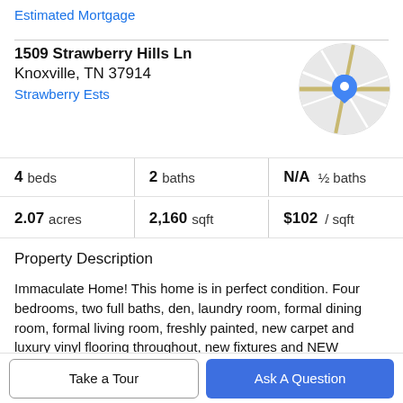Estimated Mortgage
1509 Strawberry Hills Ln
Knoxville, TN 37914
Strawberry Ests
[Figure (map): Circular map thumbnail showing street map with blue location pin marker]
4 beds | 2 baths | N/A ½ baths
2.07 acres | 2,160 sqft | $102 / sqft
Property Description
Immaculate Home! This home is in perfect condition. Four bedrooms, two full baths, den, laundry room, formal dining room, formal living room, freshly painted, new carpet and luxury vinyl flooring throughout, new fixtures and NEW
HEATING AND AIR CONDITIONING UNIT. THIS HOME HAS
Take a Tour
Ask A Question